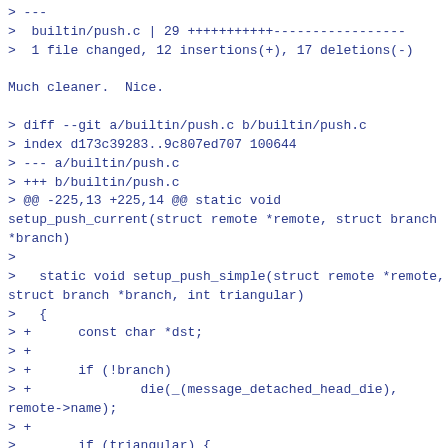> ---
>  builtin/push.c | 29 +++++++++++-----------------
>  1 file changed, 12 insertions(+), 17 deletions(-)

Much cleaner.  Nice.

> diff --git a/builtin/push.c b/builtin/push.c
> index d173c39283..9c807ed707 100644
> --- a/builtin/push.c
> +++ b/builtin/push.c
> @@ -225,13 +225,14 @@ static void setup_push_current(struct remote *remote, struct branch *branch)
>
>   static void setup_push_simple(struct remote *remote, struct branch *branch, int triangular)
>   {
> +      const char *dst;
> +
> +      if (!branch)
> +              die(_(message_detached_head_die), remote->name);
> +
>        if (triangular) {
> -              if (!branch)
> -
die(_(message_detached_head_die), remote->name);
> -              refspec_appendf(&rs, "%s:%s", branch->refname, branch->refname);
> +              dst = branch->refname;